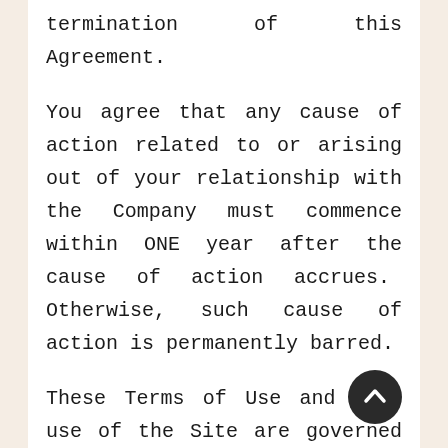termination of this Agreement.
You agree that any cause of action related to or arising out of your relationship with the Company must commence within ONE year after the cause of action accrues.  Otherwise, such cause of action is permanently barred.
These Terms of Use and your use of the Site are governed by the federal laws of the United States of America and